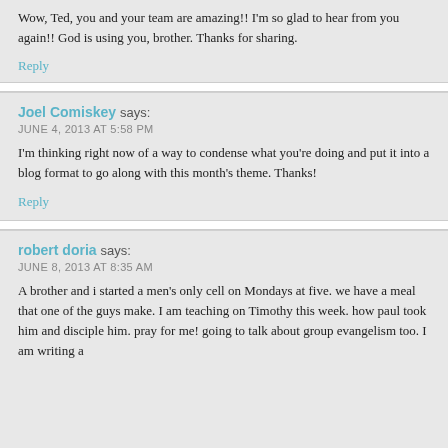Wow, Ted, you and your team are amazing!! I'm so glad to hear from you again!! God is using you, brother. Thanks for sharing.
Reply
Joel Comiskey says:
JUNE 4, 2013 AT 5:58 PM
I'm thinking right now of a way to condense what you're doing and put it into a blog format to go along with this month's theme. Thanks!
Reply
robert doria says:
JUNE 8, 2013 AT 8:35 AM
A brother and i started a men's only cell on Mondays at five. we have a meal that one of the guys make. I am teaching on Timothy this week. how paul took him and disciple him. pray for me! going to talk about group evangelism too. I am writing a